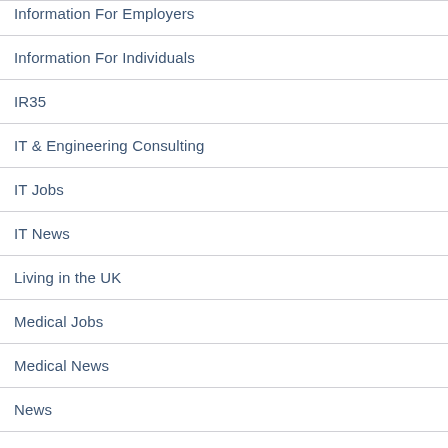Information For Employers
Information For Individuals
IR35
IT & Engineering Consulting
IT Jobs
IT News
Living in the UK
Medical Jobs
Medical News
News
Offshore Guide
Oil & Gas